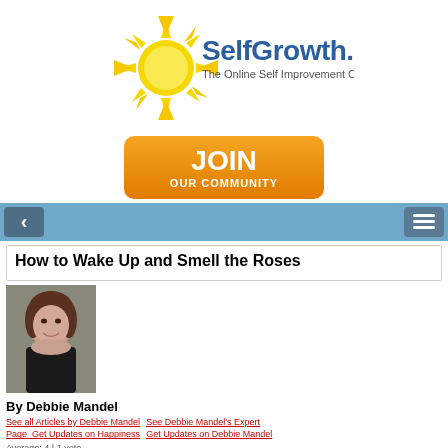[Figure (logo): SelfGrowth.com logo with yellow sun graphic and tagline 'The Online Self Improvement Community']
[Figure (infographic): Orange JOIN OUR COMMUNITY button]
[Figure (other): Navigation bar with back arrow and hamburger menu on blue background]
How to Wake Up and Smell the Roses
[Figure (photo): Photo of Debbie Mandel, a woman with short dark hair smiling]
By Debbie Mandel
See all Articles by Debbie Mandel   See Debbie Mandel's Expert Page   Get Updates on Happiness   Get Updates on Debbie Mandel
Average: 4 | 1 vote